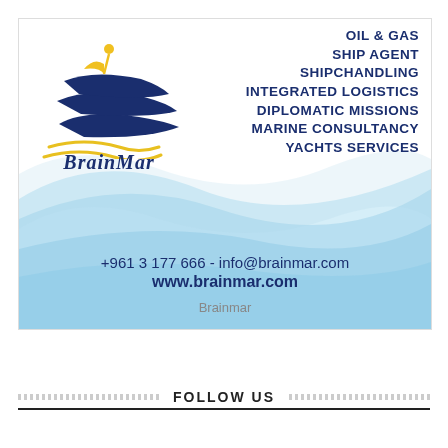[Figure (logo): BrainMar logo: stylized dark blue sailboat/whale with yellow mast element, with cursive BrainMar text and yellow wave lines below]
OIL & GAS
SHIP AGENT
SHIPCHANDLING
INTEGRATED LOGISTICS
DIPLOMATIC MISSIONS
MARINE CONSULTANCY
YACHTS SERVICES
+961 3 177 666 - info@brainmar.com
www.brainmar.com
Brainmar
FOLLOW US